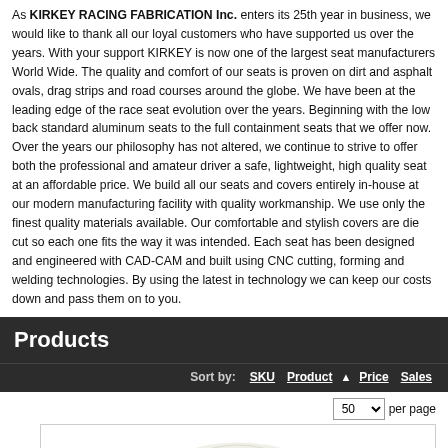As KIRKEY RACING FABRICATION Inc. enters its 25th year in business, we would like to thank all our loyal customers who have supported us over the years. With your support KIRKEY is now one of the largest seat manufacturers World Wide. The quality and comfort of our seats is proven on dirt and asphalt ovals, drag strips and road courses around the globe. We have been at the leading edge of the race seat evolution over the years. Beginning with the low back standard aluminum seats to the full containment seats that we offer now. Over the years our philosophy has not altered, we continue to strive to offer both the professional and amateur driver a safe, lightweight, high quality seat at an affordable price. We build all our seats and covers entirely in-house at our modern manufacturing facility with quality workmanship. We use only the finest quality materials available. Our comfortable and stylish covers are die cut so each one fits the way it was intended. Each seat has been designed and engineered with CAD-CAM and built using CNC cutting, forming and welding technologies. By using the latest in technology we can keep our costs down and pass them on to you.
Products
Sort by: SKU  Product  Price  Sales
50 per page
[Figure (photo): Product image showing a white/light colored racing seat viewed from above/angle]